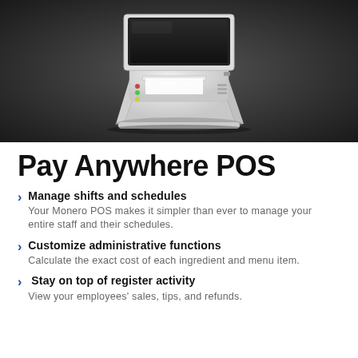[Figure (photo): A white POS terminal device (point-of-sale register with touchscreen display and receipt printer) shown against a dark background]
Pay Anywhere POS
Manage shifts and schedules
Your Monero POS makes it simpler than ever to manage your entire staff and their schedules.
Customize administrative functions
Calculate the exact cost of each ingredient and menu item.
Stay on top of register activity
View your employees' sales, tips, and refunds.